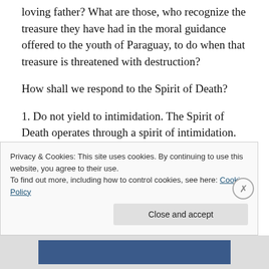loving father? What are those, who recognize the treasure they have had in the moral guidance offered to the youth of Paraguay, to do when that treasure is threatened with destruction?
How shall we respond to the Spirit of Death?
1. Do not yield to intimidation. The Spirit of Death operates through a spirit of intimidation. Those attacked can quickly give way to fear and in their fear attempt to appease the Spirit of Death. But, in fact, nothing will appease this Spirit
Privacy & Cookies: This site uses cookies. By continuing to use this website, you agree to their use.
To find out more, including how to control cookies, see here: Cookie Policy
Close and accept